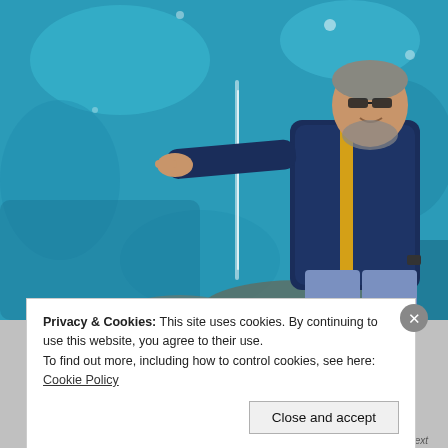[Figure (photo): A man in a navy blue jacket with yellow accents and glasses stands inside a glacier cave, pointing at a stream of meltwater running down the ice wall. The background shows blue glacier ice.]
Privacy & Cookies: This site uses cookies. By continuing to use this website, you agree to their use.
To find out more, including how to control cookies, see here: Cookie Policy
Close and accept